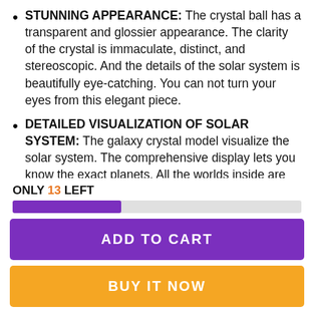STUNNING APPEARANCE: The crystal ball has a transparent and glossier appearance. The clarity of the crystal is immaculate, distinct, and stereoscopic. And the details of the solar system is beautifully eye-catching. You can not turn your eyes from this elegant piece.
DETAILED VISUALIZATION OF SOLAR SYSTEM: The galaxy crystal model visualize the solar system. The comprehensive display lets you know the exact planets. All the worlds inside are well crafted that makes a realistic appearance.
ONLY 13 LEFT
ADD TO CART
BUY IT NOW